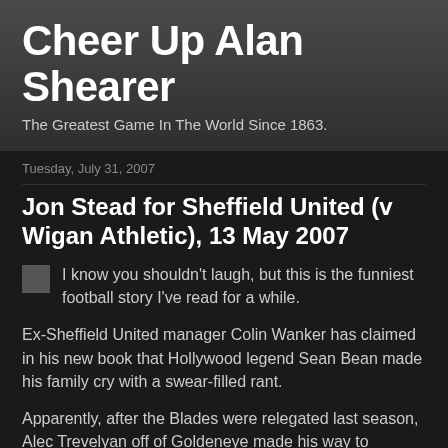Cheer Up Alan Shearer
The Greatest Game In The World Since 1863.
Tuesday, July 31, 2007
Jon Stead for Sheffield United (v Wigan Athletic), 13 May 2007
I know you shouldn't laugh, but this is the funniest football story I've read for a while.
Ex-Sheffield United manager Colin Wanker has claimed in his new book that Hollywood legend Sean Bean made his family cry with a swear-filled rant.
Apparently, after the Blades were relegated last season, Alec Trevelyan off of Goldeneye made his way to Warnock's office and confronted Mrs Wanker and their five year old